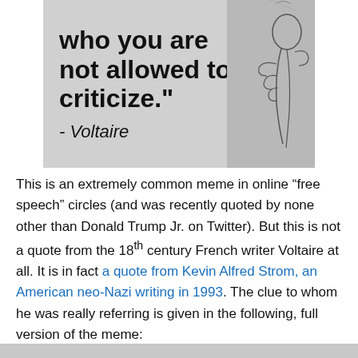[Figure (illustration): A meme-style image with a grey background showing large bold text reading 'who you are not allowed to criticize.' attributed to '- Voltaire', with a sketch illustration of a hand figure on the right side.]
This is an extremely common meme in online “free speech” circles (and was recently quoted by none other than Donald Trump Jr. on Twitter). But this is not a quote from the 18th century French writer Voltaire at all. It is in fact a quote from Kevin Alfred Strom, an American neo-Nazi writing in 1993. The clue to whom he was really referring is given in the following, full version of the meme: